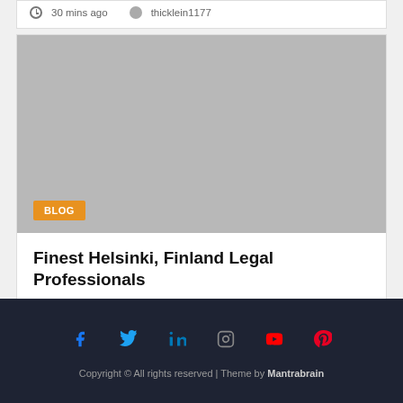30 mins ago   thicklein1177
[Figure (photo): Gray placeholder image for a blog post with BLOG badge overlay]
Finest Helsinki, Finland Legal Professionals
52 mins ago   yfkprincess
Copyright © All rights reserved | Theme by Mantrabrain